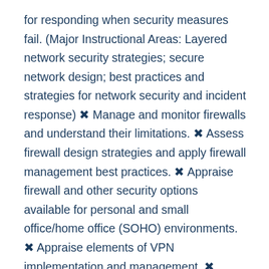for responding when security measures fail. (Major Instructional Areas: Layered network security strategies; secure network design; best practices and strategies for network security and incident response) ❒ Manage and monitor firewalls and understand their limitations. ❒ Assess firewall design strategies and apply firewall management best practices. ❒ Appraise firewall and other security options available for personal and small office/home office (SOHO) environments. ❒ Appraise elements of VPN implementation and management. ❒ Describe common VPN technologies. ❒ Follow the creation of an example firewall implementation and an example VPN implementation. ❒ Evaluate available resources and trends in network